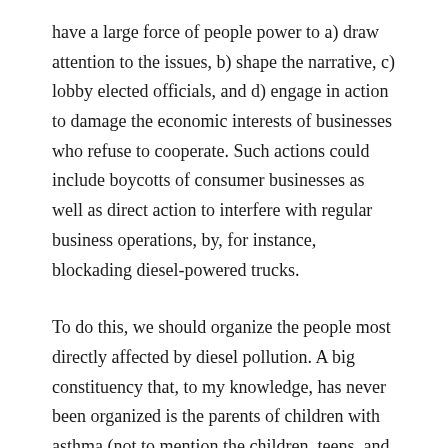have a large force of people power to a) draw attention to the issues, b) shape the narrative, c) lobby elected officials, and d) engage in action to damage the economic interests of businesses who refuse to cooperate. Such actions could include boycotts of consumer businesses as well as direct action to interfere with regular business operations, by, for instance, blockading diesel-powered trucks.
To do this, we should organize the people most directly affected by diesel pollution. A big constituency that, to my knowledge, has never been organized is the parents of children with asthma (not to mention the children, teens, and adults with asthma themselves). One avenue is to build relationships with nurses, doctors, and teachers and ask them to inform the families of children